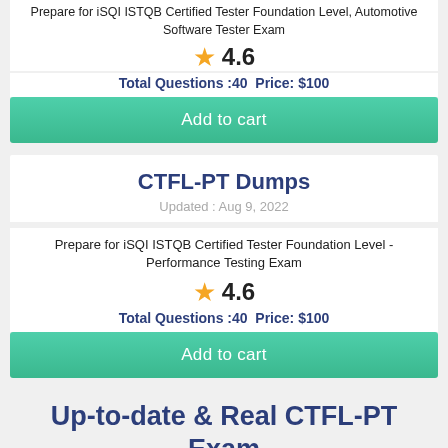Prepare for iSQI ISTQB Certified Tester Foundation Level, Automotive Software Tester Exam
4.6
Total Questions :40  Price: $100
Add to cart
CTFL-PT Dumps
Updated : Aug 9, 2022
Prepare for iSQI ISTQB Certified Tester Foundation Level - Performance Testing Exam
4.6
Total Questions :40  Price: $100
Add to cart
Up-to-date & Real CTFL-PT Exam Questions